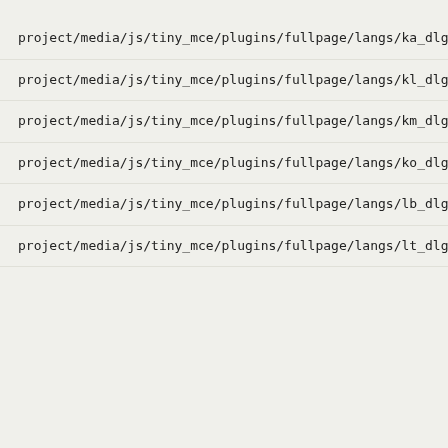project/media/js/tiny_mce/plugins/fullpage/langs/ka_dlg.js
project/media/js/tiny_mce/plugins/fullpage/langs/kl_dlg.js
project/media/js/tiny_mce/plugins/fullpage/langs/km_dlg.js
project/media/js/tiny_mce/plugins/fullpage/langs/ko_dlg.js
project/media/js/tiny_mce/plugins/fullpage/langs/lb_dlg.js
project/media/js/tiny_mce/plugins/fullpage/langs/lt_dlg.js